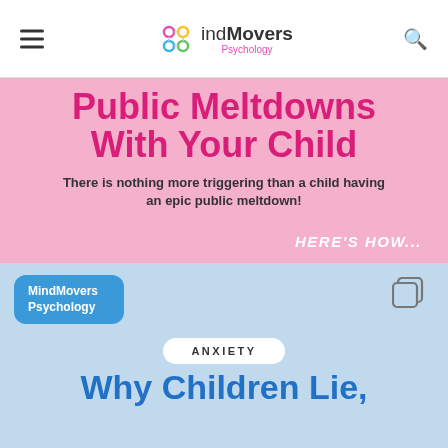indMovers Psychology
Public Meltdowns With Your Child
There is nothing more triggering than a child having an epic public meltdown!
HERE'S HOW...
[Figure (logo): MindMovers Psychology badge in blue rounded rectangle]
ANXIETY
Why Children Lie,